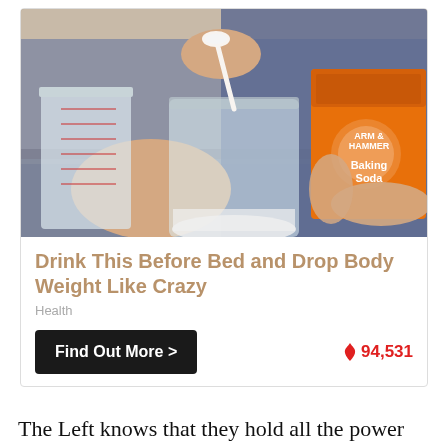[Figure (photo): Person holding an Arm & Hammer Baking Soda box and spooning white powder into a glass mason jar, with a measuring cup visible on the left. Kitchen setting.]
Drink This Before Bed and Drop Body Weight Like Crazy
Health
Find Out More >
94,531
The Left knows that they hold all the power